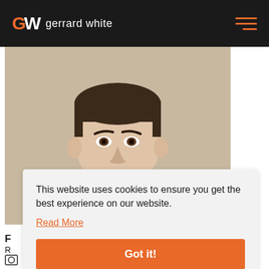gerrard white
[Figure (photo): Headshot photo of a young man with short dark hair, light complexion, wearing a white collar, against a beige/cream background. Photo is partially covered by a cookie consent overlay.]
This website uses cookies to ensure you get the best experience on our website.
Read More
Got it!
F
R